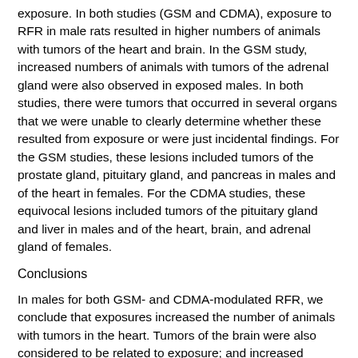exposure. In both studies (GSM and CDMA), exposure to RFR in male rats resulted in higher numbers of animals with tumors of the heart and brain. In the GSM study, increased numbers of animals with tumors of the adrenal gland were also observed in exposed males. In both studies, there were tumors that occurred in several organs that we were unable to clearly determine whether these resulted from exposure or were just incidental findings. For the GSM studies, these lesions included tumors of the prostate gland, pituitary gland, and pancreas in males and of the heart in females. For the CDMA studies, these equivocal lesions included tumors of the pituitary gland and liver in males and of the heart, brain, and adrenal gland of females.
Conclusions
In males for both GSM- and CDMA-modulated RFR, we conclude that exposures increased the number of animals with tumors in the heart. Tumors of the brain were also considered to be related to exposure; and increased numbers of male rats with tumors of the adrenal gland were also related to exposure. We are uncertain whether occurrences of prostate gland, pituitary gland, and pancreatic islet tumors in male rats exposed to GSM-modulated RFR and pituitary gland and liver tumors in male